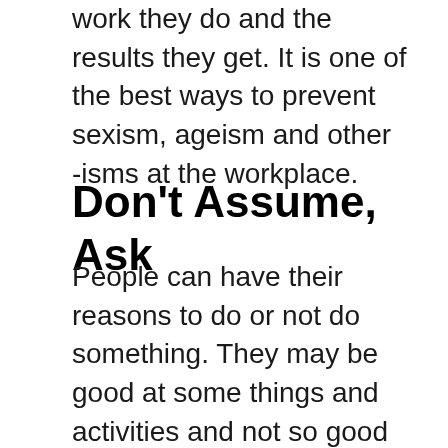work they do and the results they get. It is one of the best ways to prevent sexism, ageism and other -isms at the workplace.
Don't Assume, Ask
People can have their reasons to do or not do something. They may be good at some things and activities and not so good at others. Assuming that some skills are passed with X or Y chromosomes or miraculously appear with age is also sexism and ageism. However, almost all of us are prone to it to some extent. But we should re,e,ber that women aren't more empathetic and emotional, and men aren't more reasonable by default. Older people aren't always more conservative and slower to accept radical changes. Family